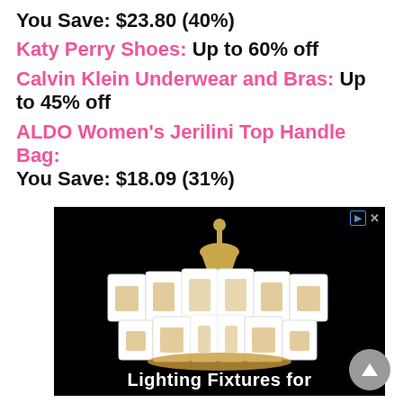You Save: $23.80 (40%)
Katy Perry Shoes: Up to 60% off
Calvin Klein Underwear and Bras: Up to 45% off
ALDO Women's Jerilini Top Handle Bag: You Save: $18.09 (31%)
[Figure (photo): Advertisement showing a white and gold tiered chandelier (Lighting Fixtures) on a black background, with ad icons in top right corner and partial text 'Lighting Fixtures for' at the bottom.]